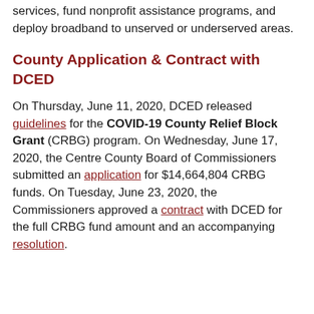services, fund nonprofit assistance programs, and deploy broadband to unserved or underserved areas.
County Application & Contract with DCED
On Thursday, June 11, 2020, DCED released guidelines for the COVID-19 County Relief Block Grant (CRBG) program. On Wednesday, June 17, 2020, the Centre County Board of Commissioners submitted an application for $14,664,804 CRBG funds. On Tuesday, June 23, 2020, the Commissioners approved a contract with DCED for the full CRBG fund amount and an accompanying resolution.